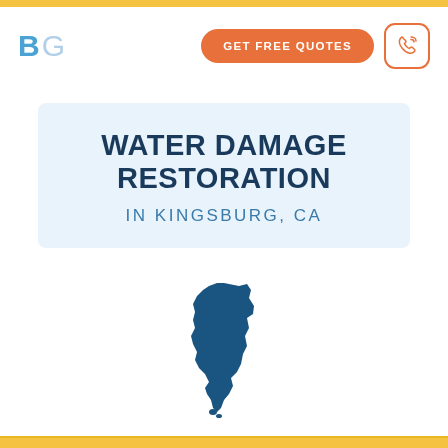[Figure (logo): BG logo with blue B and light blue G letters]
GET FREE QUOTES
WATER DAMAGE RESTORATION IN KINGSBURG, CA
[Figure (map): Silhouette map of California state in dark blue/teal color]